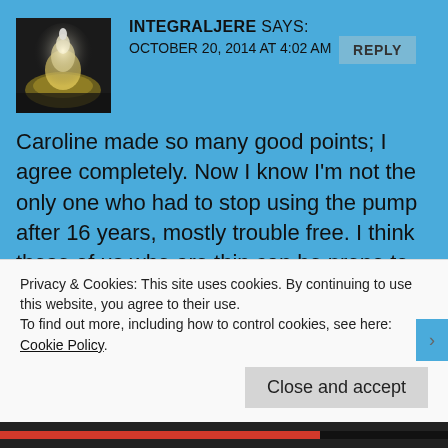INTEGRALJERE SAYS: OCTOBER 20, 2014 AT 4:02 AM
Caroline made so many good points; I agree completely. Now I know I'm not the only one who had to stop using the pump after 16 years, mostly trouble free. I think those of us who are thin can be prone to develop these site problems over time; I also had those terrible shooting pains that you describe, with the nausea, too. Even now I gripe about not having more fat to shoot insulin into! Perhaps you may want to try Laddie's suggestion first. If that doesn't work out, then you could try a pump vacation, getting the feel for
Privacy & Cookies: This site uses cookies. By continuing to use this website, you agree to their use.
To find out more, including how to control cookies, see here: Cookie Policy
Close and accept